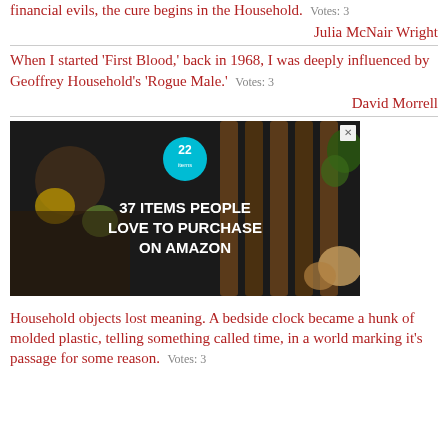financial evils, the cure begins in the Household. Votes: 3
Julia McNair Wright
When I started 'First Blood,' back in 1968, I was deeply influenced by Geoffrey Household's 'Rogue Male.' Votes: 3
David Morrell
[Figure (other): Advertisement banner: 37 Items People Love to Purchase on Amazon, with a teal badge showing '22', dark background with kitchen knives and food items]
Household objects lost meaning. A bedside clock became a hunk of molded plastic, telling something called time, in a world marking it's passage for some reason. Votes: 3